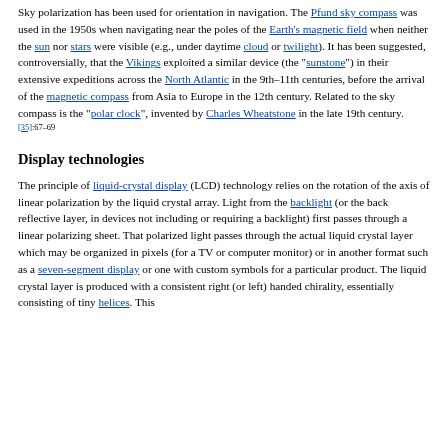Sky polarization has been used for orientation in navigation. The Pfund sky compass was used in the 1950s when navigating near the poles of the Earth's magnetic field when neither the sun nor stars were visible (e.g., under daytime cloud or twilight). It has been suggested, controversially, that the Vikings exploited a similar device (the "sunstone") in their extensive expeditions across the North Atlantic in the 9th–11th centuries, before the arrival of the magnetic compass from Asia to Europe in the 12th century. Related to the sky compass is the "polar clock", invented by Charles Wheatstone in the late 19th century.[35]:67–69
Display technologies
The principle of liquid-crystal display (LCD) technology relies on the rotation of the axis of linear polarization by the liquid crystal array. Light from the backlight (or the back reflective layer, in devices not including or requiring a backlight) first passes through a linear polarizing sheet. That polarized light passes through the actual liquid crystal layer which may be organized in pixels (for a TV or computer monitor) or in another format such as a seven-segment display or one with custom symbols for a particular product. The liquid crystal layer is produced with a consistent right (or left) handed chirality, essentially consisting of tiny helices. This